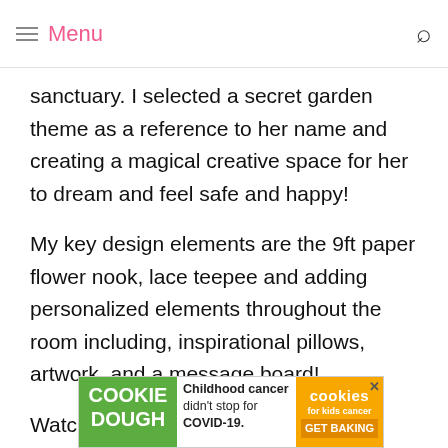Menu
sanctuary. I selected a secret garden theme as a reference to her name and creating a magical creative space for her to dream and feel safe and happy!
My key design elements are the 9ft paper flower nook, lace teepee and adding personalized elements throughout the room including, inspirational pillows, artwork, and a message board!
Watch the full nursery reveal video:
http... (partial URL visible) ...titys-nu...sser
[Figure (other): Cookie Dough advertisement banner: Childhood cancer didn't stop for COVID-19. GET BAKING. cookies for kids cancer logo.]